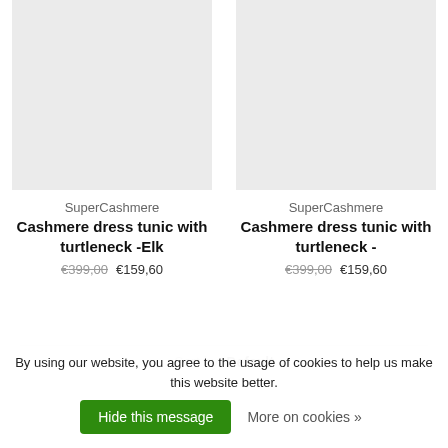[Figure (photo): Product image placeholder for Cashmere dress tunic with turtleneck - Elk, left card]
[Figure (photo): Product image placeholder for Cashmere dress tunic with turtleneck, right card]
SuperCashmere
Cashmere dress tunic with turtleneck -Elk
€399,00  €159,60
SuperCashmere
Cashmere dress tunic with turtleneck -
€399,00  €159,60
Sort by: Default
By using our website, you agree to the usage of cookies to help us make this website better.
Hide this message
More on cookies »